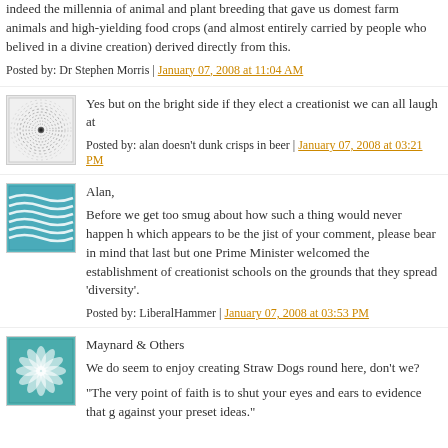indeed the millennia of animal and plant breeding that gave us domestic farm animals and high-yielding food crops (and almost entirely carried by people who belived in a divine creation) derived directly from this.
Posted by: Dr Stephen Morris | January 07, 2008 at 11:04 AM
[Figure (illustration): Circular spiral pattern avatar icon]
Yes but on the bright side if they elect a creationist we can all laugh at
Posted by: alan doesn't dunk crisps in beer | January 07, 2008 at 03:21 PM
[Figure (illustration): Wavy blue lines avatar icon]
Alan,
Before we get too smug about how such a thing would never happen h which appears to be the jist of your comment, please bear in mind that last but one Prime Minister welcomed the establishment of creationist schools on the grounds that they spread 'diversity'.
Posted by: LiberalHammer | January 07, 2008 at 03:53 PM
[Figure (illustration): Geometric sunburst/flower pattern avatar icon]
Maynard & Others
We do seem to enjoy creating Straw Dogs round here, don't we?
"The very point of faith is to shut your eyes and ears to evidence that g against your preset ideas."